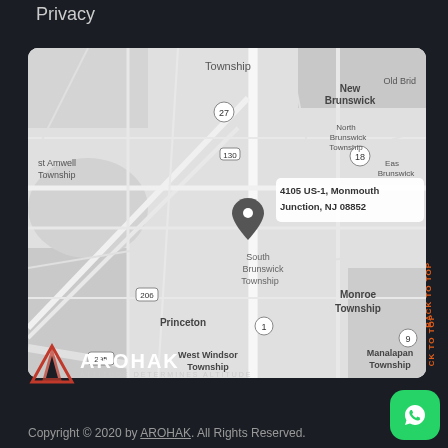Privacy
[Figure (map): Google Maps showing 4105 US-1, Monmouth Junction, NJ 08852 with a location pin. Surrounding areas visible: New Brunswick, North Brunswick Township, East Brunswick, South Brunswick Township, Princeton, West Windsor Township, Monroe Township, Manalapan Township, Old Bridge. Road markers for routes 27, 130, 18, 206, 1, 295, 9 visible.]
[Figure (logo): AROHAK logo with red triangular mountain icon and text 'AROHAK' with tagline 'ATTITUDE DETERMINES ALTITUDE']
Copyright © 2020 by AROHAK. All Rights Reserved.